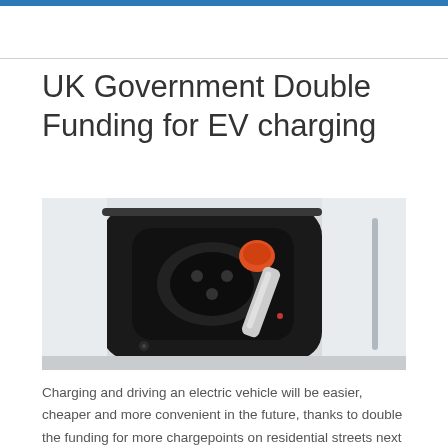UK Government Double Funding for EV charging
[Figure (photo): Close-up photo of an electric vehicle charging port with a white charging cable plugged in, featuring an orange connector cap, on a white vehicle body.]
Charging and driving an electric vehicle will be easier, cheaper and more convenient in the future, thanks to double the funding for more chargepoints on residential streets next year